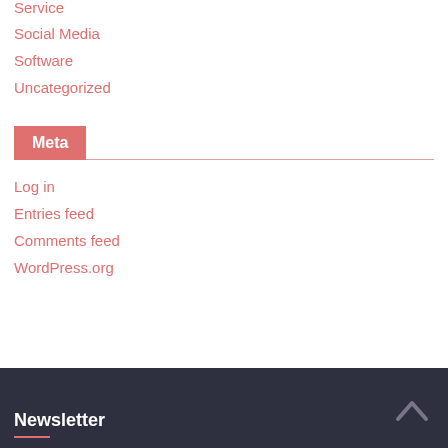Service
Social Media
Software
Uncategorized
Meta
Log in
Entries feed
Comments feed
WordPress.org
Newsletter